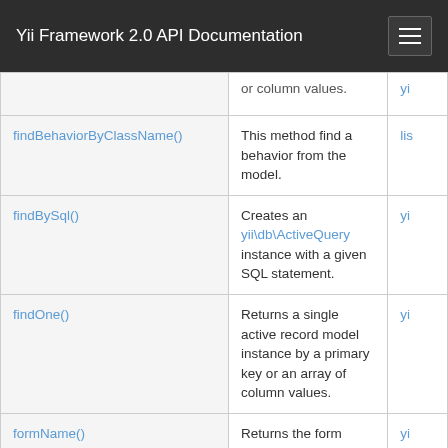Yii Framework 2.0 API Documentation
| Method | Description | Defined By |
| --- | --- | --- |
| findBehaviorByClassName() | This method find a behavior from the model. | lis… |
| findBySql() | Creates an yii\db\ActiveQuery instance with a given SQL statement. | yi… |
| findOne() | Returns a single active record model instance by a primary key or an array of column values. | yi… |
| formName() | Returns the form name that this | yi… |